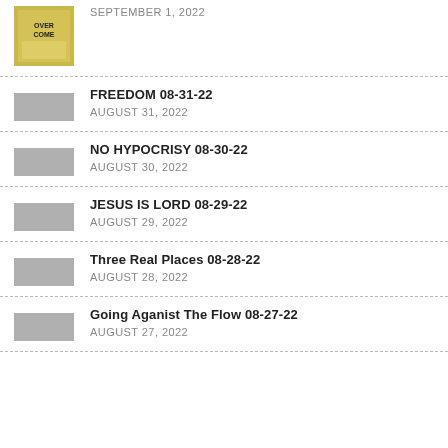SEPTEMBER 1, 2022
FREEDOM 08-31-22
AUGUST 31, 2022
NO HYPOCRISY 08-30-22
AUGUST 30, 2022
JESUS IS LORD 08-29-22
AUGUST 29, 2022
Three Real Places 08-28-22
AUGUST 28, 2022
Going Aganist The Flow 08-27-22
AUGUST 27, 2022